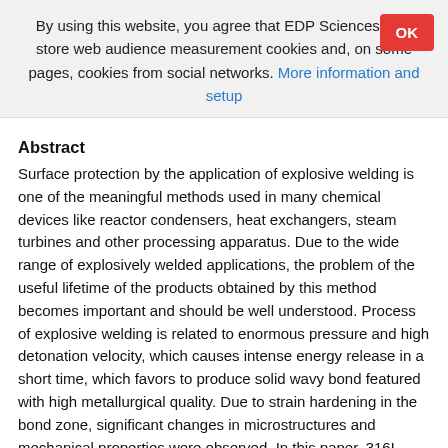By using this website, you agree that EDP Sciences may store web audience measurement cookies and, on some pages, cookies from social networks. More information and setup
Abstract
Surface protection by the application of explosive welding is one of the meaningful methods used in many chemical devices like reactor condensers, heat exchangers, steam turbines and other processing apparatus. Due to the wide range of explosively welded applications, the problem of the useful lifetime of the products obtained by this method becomes important and should be well understood. Process of explosive welding is related to enormous pressure and high detonation velocity, which causes intense energy release in a short time, which favors to produce solid wavy bond featured with high metallurgical quality. Due to strain hardening in the bond zone, significant changes in microstructures and mechanical properties were observed. In this paper, 316L stainless steel explosively welded with